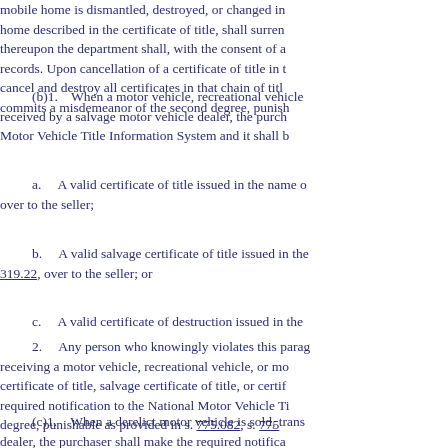mobile home is dismantled, destroyed, or changed in its character, the owner of the mobile home described in the certificate of title, shall surrender the certificate of title, and thereupon the department shall, with the consent of all holders of liens, cancel its records. Upon cancellation of a certificate of title in this manner, the department may cancel and destroy all certificates in that chain of title. Any person who violates this commits a misdemeanor of the second degree, punishable
(b)1. When a motor vehicle, recreational vehicle, or mobile home is received by a salvage motor vehicle dealer, the purchaser shall notify the National Motor Vehicle Title Information System and it shall be accompanied by:
a. A valid certificate of title issued in the name of the seller, endorsed over to the seller;
b. A valid salvage certificate of title issued in the name of s. 319.22, over to the seller; or
c. A valid certificate of destruction issued in the name of
2. Any person who knowingly violates this paragraph by receiving a motor vehicle, recreational vehicle, or mobile home without a certificate of title, salvage certificate of title, or certificate of destruction, or without required notification to the National Motor Vehicle Title Information System commits a felony of the third degree, punishable as provided in s. 775.082, s. 775
(c)1. When a derelict motor vehicle is sold, transferred, or conveyed to a dealer, the purchaser shall make the required notification to the National Motor Vehicle Title Information System and record the date